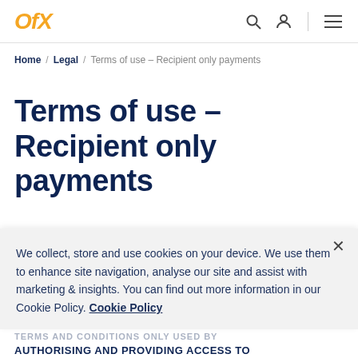OFX — navigation bar with search, account, and menu icons
Home / Legal / Terms of use – Recipient only payments
Terms of use – Recipient only payments
We collect, store and use cookies on your device. We use them to enhance site navigation, analyse our site and assist with marketing & insights. You can find out more information in our Cookie Policy. Cookie Policy
TERMS AND CONDITIONS ONLY USED BY AUTHORISING AND PROVIDING ACCESS TO